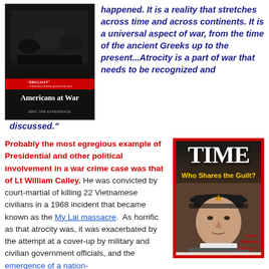[Figure (photo): Book cover of 'Americans at War' — dark background with a war scene photograph at top, a red bar with a quote snippet, title text in white, and subtitle text below.]
happened. It is a reality that stretches across time and across continents. It is a universal aspect of war, from the time of the ancient Greeks up to the present...Atrocity is a part of war that needs to be recognized and discussed."
Probably the most egregious example of Presidential and other political involvement in a war crime case was that of Lt William Calley. He was convicted by court-martial of killing 22 Vietnamese civilians in a 1968 incident that became known as the My Lai massacre. As horrific as that atrocity was, it was exacerbated by the attempt at a cover-up by military and civilian government officials, and the emergence of a nation-
[Figure (photo): TIME magazine cover showing Lt. William Calley Jr. with the headline 'Who Shares the Guilt?' — red border, TIME logo in white at top, headline in yellow, illustrated portrait of man in military cap, caption 'Lieut. William Calley Jr.' in red at bottom right.]